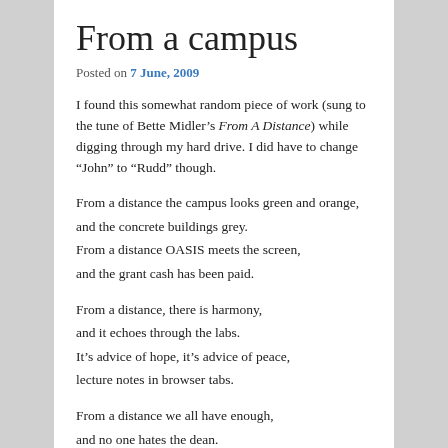From a campus
Posted on 7 June, 2009
I found this somewhat random piece of work (sung to the tune of Bette Midler’s From A Distance) while digging through my hard drive. I did have to change “John” to “Rudd” though.
From a distance the campus looks green and orange,
and the concrete buildings grey.
From a distance OASIS meets the screen,
and the grant cash has been paid.
From a distance, there is harmony,
and it echoes through the labs.
It’s advice of hope, it’s advice of peace,
lecture notes in browser tabs.
From a distance we all have enough,
and no one hates the dean.
And there are no scales, no fails, and sound degrees,